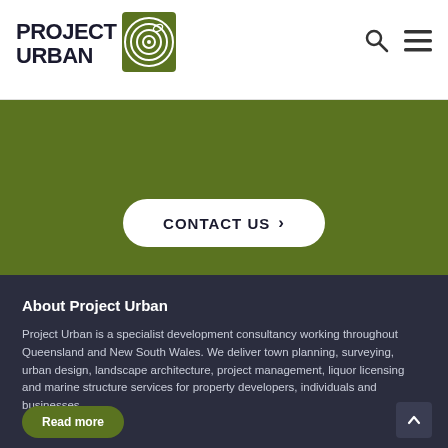PROJECT URBAN
[Figure (logo): Project Urban logo with circular tree-ring icon in green square]
[Figure (other): Search icon and hamburger menu icon in top right of header]
[Figure (screenshot): Green banner section with CONTACT US button]
About Project Urban
Project Urban is a specialist development consultancy working throughout Queensland and New South Wales. We deliver town planning, surveying, urban design, landscape architecture, project management, liquor licensing and marine structure services for property developers, individuals and businesses.
Read more